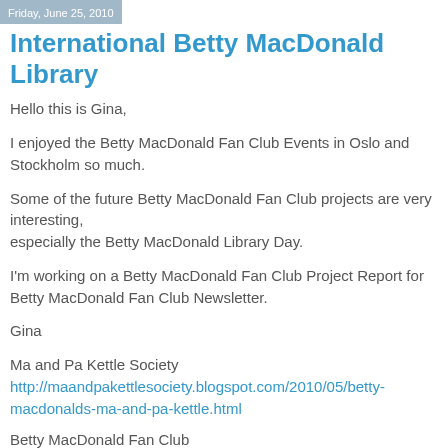Friday, June 25, 2010
International Betty MacDonald Library
Hello this is Gina,
I enjoyed the Betty MacDonald Fan Club Events in Oslo and Stockholm so much.
Some of the future Betty MacDonald Fan Club projects are very interesting,
especially the Betty MacDonald Library Day.
I'm working on a Betty MacDonald Fan Club Project Report for Betty MacDonald Fan Club Newsletter.
Gina
Ma and Pa Kettle Society
http://maandpakettlesociety.blogspot.com/2010/05/betty-macdonalds-ma-and-pa-kettle.html
Betty MacDonald Fan Club